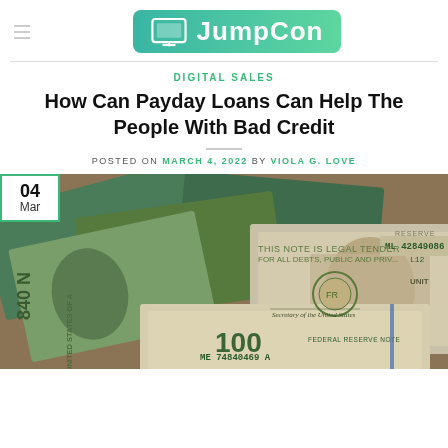JumpCon
DIGITAL SALES
How Can Payday Loans Can Help The People With Bad Credit
POSTED ON MARCH 4, 2022 BY VIOLA G. LOVE
[Figure (photo): Pile of US dollar bills including $1, $50, and $100 bills. A $50 bill with serial number ML 42849086 B and a $100 bill with serial number ME 74840469 A are clearly visible.]